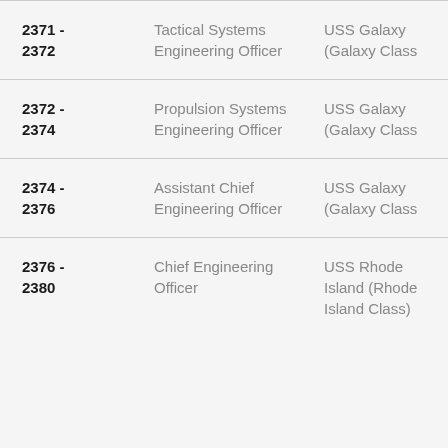| Years | Role | Assignment |
| --- | --- | --- |
| 2371 - 2372 | Tactical Systems Engineering Officer | USS Galaxy (Galaxy Class) |
| 2372 - 2374 | Propulsion Systems Engineering Officer | USS Galaxy (Galaxy Class) |
| 2374 - 2376 | Assistant Chief Engineering Officer | USS Galaxy (Galaxy Class) |
| 2376 - 2380 | Chief Engineering Officer | USS Rhode Island (Rhode Island Class) |